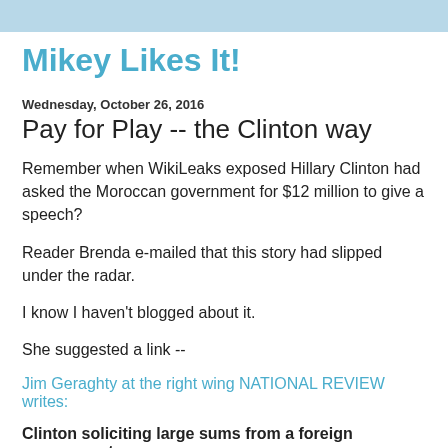Mikey Likes It!
Wednesday, October 26, 2016
Pay for Play -- the Clinton way
Remember when WikiLeaks exposed Hillary Clinton had asked the Moroccan government for $12 million to give a speech?
Reader Brenda e-mailed that this story had slipped under the radar.
I know I haven't blogged about it.
She suggested a link --
Jim Geraghty at the right wing NATIONAL REVIEW writes:
Clinton soliciting large sums from a foreign government